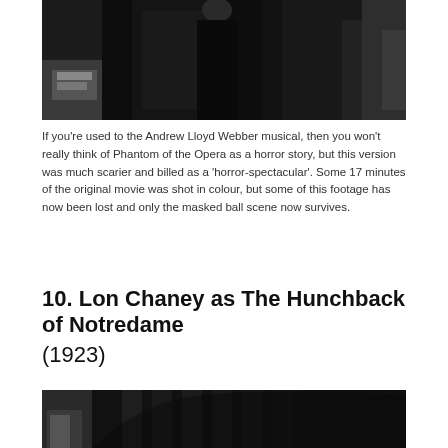[Figure (photo): Black and white photograph showing a figure in dark clothing, partial view cropped at top]
If you're used to the Andrew Lloyd Webber musical, then you won't really think of Phantom of the Opera as a horror story, but this version was much scarier and billed as a 'horror-spectacular'. Some 17 minutes of the original movie was shot in colour, but some of this footage has now been lost and only the masked ball scene now survives.
10. Lon Chaney as The Hunchback of Notredame
(1923)
[Figure (photo): Black and white photograph showing a cathedral interior with arched columns, a figure visible on the left side]